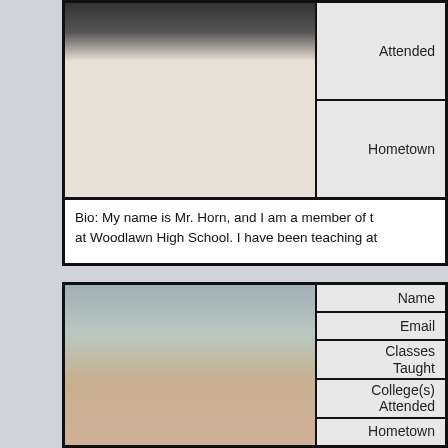[Figure (photo): Photo of a young man in a white shirt, top of head to shoulders, dark hair and beard]
| College(s) Attended | Hometown |
| --- | --- |
Bio: My name is Mr. Horn, and I am a member of t... at Woodlawn High School. I have been teaching at
[Figure (photo): Selfie photo of a young Black woman with hair up, sitting in a car, smiling slightly]
| Name | Email | Classes Taught | College(s) Attended | Hometown |
| --- | --- | --- | --- | --- |